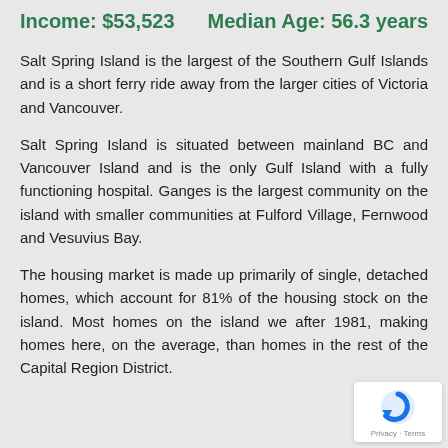Income: $53,523    Median Age: 56.3 years
Salt Spring Island is the largest of the Southern Gulf Islands and is a short ferry ride away from the larger cities of Victoria and Vancouver.
Salt Spring Island is situated between mainland BC and Vancouver Island and is the only Gulf Island with a fully functioning hospital. Ganges is the largest community on the island with smaller communities at Fulford Village, Fernwood and Vesuvius Bay.
The housing market is made up primarily of single, detached homes, which account for 81% of the housing stock on the island. Most homes on the island we after 1981, making homes here, on the average, than homes in the rest of the Capital Region District.